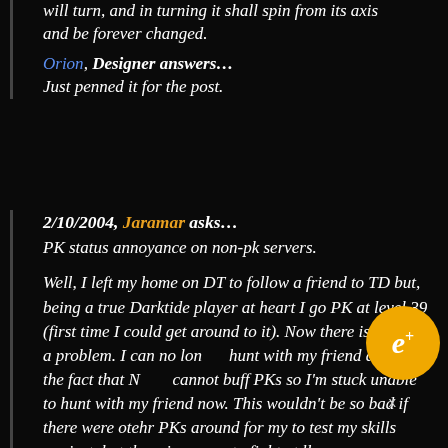will turn, and in turning it shall spin from its axis and be forever changed.
Orion, Designer answers… Just penned it for the post.
2/10/2004, Jaramar asks… PK status annoyance on non-pk servers.
Well, I left my home on DT to follow a friend to TD but, being a true Darktide player at heart I go PK at level 39 (first time I could get around to it). Now there is a bit of a problem. I can no longer hunt with my friend due to the fact that NPCs cannot buff PKs so I'm stuck unable to hunt with my friend now. This wouldn't be so bad if there were otehr PKs around for my to test my skills against, but there is no one to fight at ll...
[Figure (logo): circular gold badge with italic letter e and plus sign]